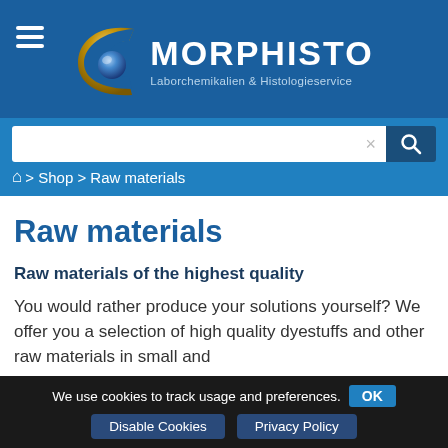[Figure (logo): Morphisto logo with golden crescent and blue sphere, white text reading MORPHISTO, subtitle Laborchemikalien & Histologieservice on dark blue header background]
x
> Shop > Raw materials
Raw materials
Raw materials of the highest quality
You would rather produce your solutions yourself? We offer you a selection of high quality dyestuffs and other raw materials in small and
We use cookies to track usage and preferences. OK
Disable Cookies    Privacy Policy